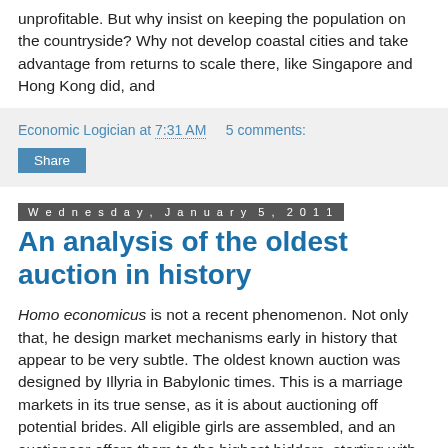unprofitable. But why insist on keeping the population on the countryside? Why not develop coastal cities and take advantage from returns to scale there, like Singapore and Hong Kong did, and
Economic Logician at 7:31 AM   5 comments:
Share
Wednesday, January 5, 2011
An analysis of the oldest auction in history
Homo economicus is not a recent phenomenon. Not only that, he design market mechanisms early in history that appear to be very subtle. The oldest known auction was designed by Illyria in Babylonic times. This is a marriage markets in its true sense, as it is about auctioning off potential brides. All eligible girls are assembled, and an auctioneer offers them to the highest bidders, starting with